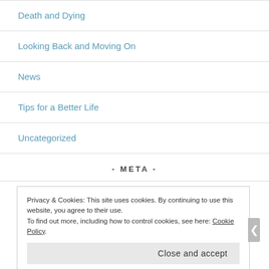Death and Dying
Looking Back and Moving On
News
Tips for a Better Life
Uncategorized
- META -
Privacy & Cookies: This site uses cookies. By continuing to use this website, you agree to their use.
To find out more, including how to control cookies, see here: Cookie Policy
Close and accept